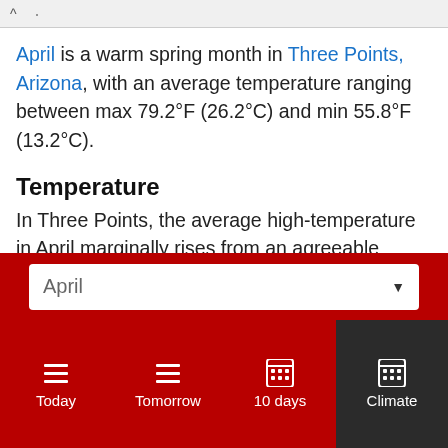^  .
April is a warm spring month in Three Points, Arizona, with an average temperature ranging between max 79.2°F (26.2°C) and min 55.8°F (13.2°C).
Temperature
In Three Points, the average high-temperature in April marginally rises from an agreeable 72.9°F (22.7°C) in March to a warm 79.2°F (26.2°C). In April, in Three Points, the average low-temperature
April ▼
Today  Tomorrow  10 days  Climate